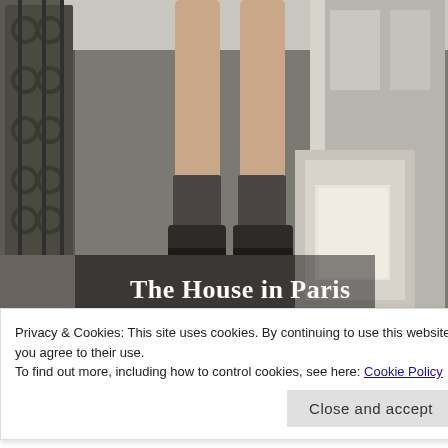[Figure (photo): Book cover of 'The House in Paris' showing legs of a person standing on what appears to be a balcony with ornate iron railings, viewed from below. The title 'The House in Paris' appears in white text at the bottom of the image.]
Privacy & Cookies: This site uses cookies. By continuing to use this website, you agree to their use.
To find out more, including how to control cookies, see here: Cookie Policy
Close and accept
Pearl so, we've been drinking all evening; what is